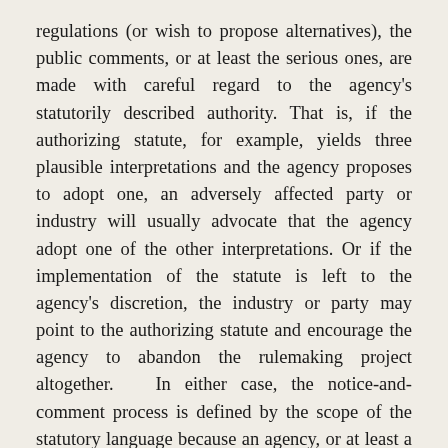regulations (or wish to propose alternatives), the public comments, or at least the serious ones, are made with careful regard to the agency's statutorily described authority. That is, if the authorizing statute, for example, yields three plausible interpretations and the agency proposes to adopt one, an adversely affected party or industry will usually advocate that the agency adopt one of the other interpretations. Or if the implementation of the statute is left to the agency's discretion, the industry or party may point to the authorizing statute and encourage the agency to abandon the rulemaking project altogether.  In either case, the notice-and-comment process is defined by the scope of the statutory language because an agency, or at least a well-behaving one, can be counted on to consider itself bound by that language.